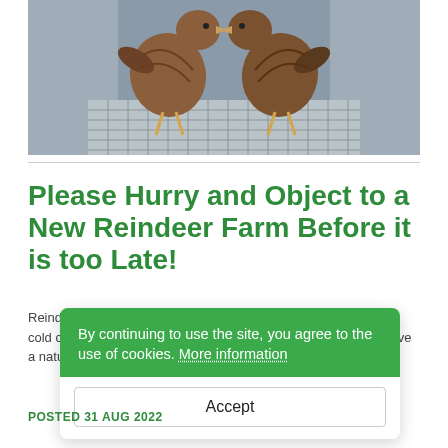[Figure (photo): Two brown quail-like birds facing each other inside a wire mesh cage with grey metal walls]
Please Hurry and Object to a New Reindeer Farm Before it is too Late!
Reindeer are sensitive wild animals who are adapted to live in a cold climate, foraging for lichen, herbs and other plants. They have a natural instinct to roam and, as herding animals, so...
By continuing to use the site, you agree to the use of cookies. More information
Accept
POSTED 31 AUG 2022